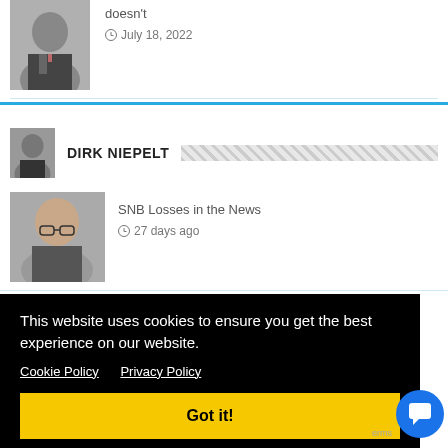[Figure (photo): Headshot of a man in a dark suit, top of page]
doesn't
July 18, 2022
DIRK NIEPELT
[Figure (photo): Headshot of a bald man with glasses]
SNB Losses in the News
27 days ago
This website uses cookies to ensure you get the best experience on our website.
Cookie Policy  Privacy Policy
Got it!
[Figure (photo): Partial headshot at bottom of page]